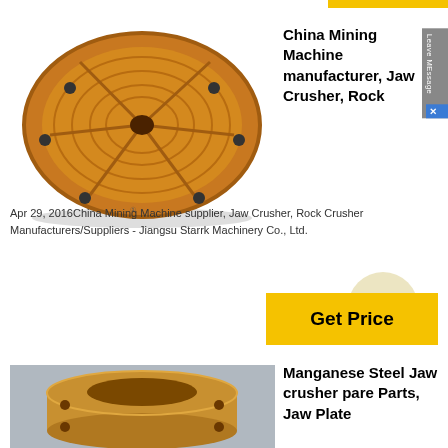[Figure (photo): A circular copper/bronze colored machine part with radial grooves and concentric rings, viewed from above, with bolt holes around the perimeter]
China Mining Machine manufacturer, Jaw Crusher, Rock
Apr 29, 2016China Mining Machine supplier, Jaw Crusher, Rock Crusher Manufacturers/Suppliers - Jiangsu Starrk Machinery Co., Ltd.
[Figure (photo): A bronze/gold colored cylindrical flange or bushing part photographed on a gray surface]
Manganese Steel Jaw crusher pare Parts, Jaw Plate